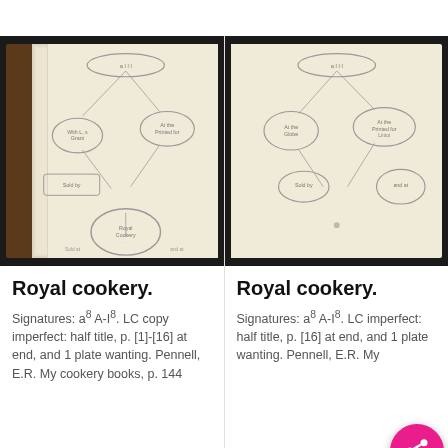[Figure (photo): Left: Photograph of an open old book showing two pages with hand-drawn circular diagrams and connecting lines, with brown leather spine visible on the left side.]
Royal cookery.
Signatures: a8 A-I8. LC copy imperfect: half title, p. [1]-[16] at end, and 1 plate wanting. Pennell, E.R. My cookery books, p. 144
[Figure (photo): Right: Photograph of the same open old book from a different angle, showing pages with hand-drawn circular diagrams and connecting lines.]
Royal cookery.
Signatures: a8 A-I8. LC imperfect: half title, p. [16] at end, and 1 plate wanting. Pennell, E.R. My